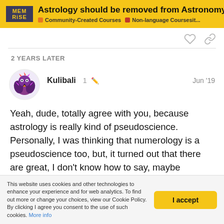Astrology should be removed from Astronomy a... | Community-Created Courses | Non-language Coursesit...
2 YEARS LATER
Kulibali  1  Jun '19
Yeah, dude, totally agree with you, because astrology is really kind of pseudoscience. Personally, I was thinking that numerology is a pseudoscience too, but, it turned out that there are great, I don't know how to say, maybe coincidences? But it really works. Once, after waking up 5 days in a row at 5:55, it made me think about that number. You won't believe it, but for 2018 year I had 5 vacations, 5 girlfriends, 5 awards at work and
This website uses cookies and other technologies to enhance your experience and for web analytics. To find out more or change your choices, view our Cookie Policy. By clicking I agree you consent to the use of such cookies. More info